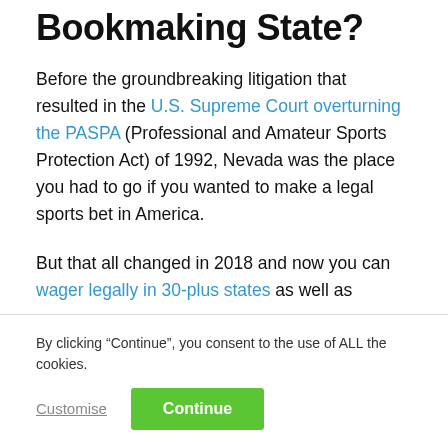Bookmaking State?
Before the groundbreaking litigation that resulted in the U.S. Supreme Court overturning the PASPA (Professional and Amateur Sports Protection Act) of 1992, Nevada was the place you had to go if you wanted to make a legal sports bet in America.
But that all changed in 2018 and now you can wager legally in 30-plus states as well as
By clicking “Continue”, you consent to the use of ALL the cookies.